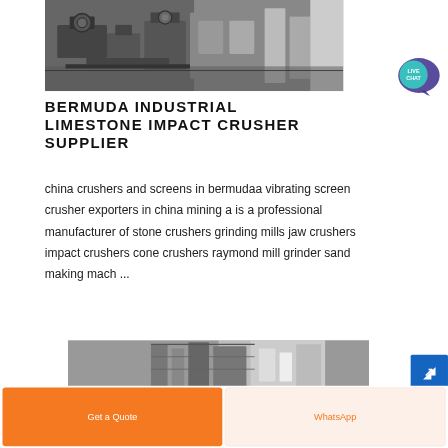[Figure (photo): Industrial machinery, appears to be a crusher or conveyor system in a factory setting, black and white industrial equipment]
BERMUDA INDUSTRIAL LIMESTONE IMPACT CRUSHER SUPPLIER
china crushers and screens in bermudaa vibrating screen crusher exporters in china mining a is a professional manufacturer of stone crushers grinding mills jaw crushers impact crushers cone crushers raymond mill grinder sand making mach ...
[Figure (photo): Industrial building exterior with metal scaffolding or conveyor structure, grey tones]
Get a Quote   WhatsApp